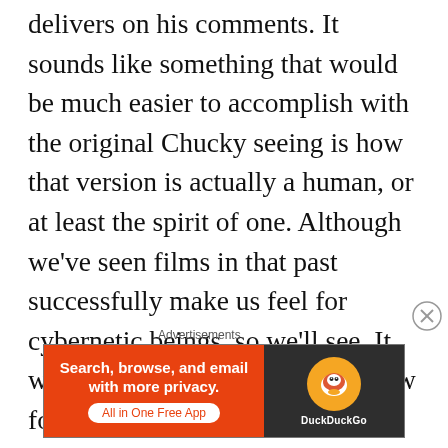delivers on his comments. It sounds like something that would be much easier to accomplish with the original Chucky seeing is how that version is actually a human, or at least the spirit of one. Although we've seen films in that past successfully make us feel for cybernetic beings, so we'll see. It would definitely be something new for the Child's Play franchise. But is feeling sorry for and understanding towards Chucky something we should even want?
Advertisements
[Figure (other): DuckDuckGo advertisement banner: orange left panel with text 'Search, browse, and email with more privacy. All in One Free App' and dark right panel with DuckDuckGo logo and brand name.]